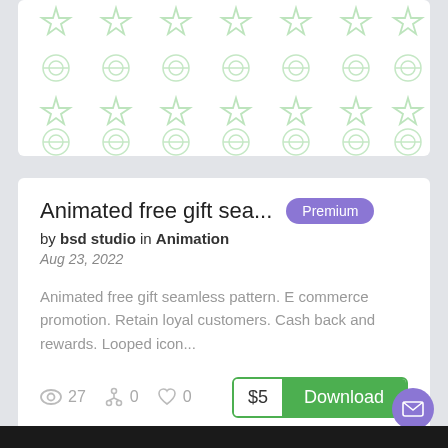[Figure (illustration): White card with repeating light green star and gift/reward icon pattern arranged in a grid]
Animated free gift sea...
by bsd studio in Animation
Aug 23, 2022
Animated free gift seamless pattern. E commerce promotion. Retain loyal customers. Cash back and rewards. Looped icon...
27  0  0
$5  Download